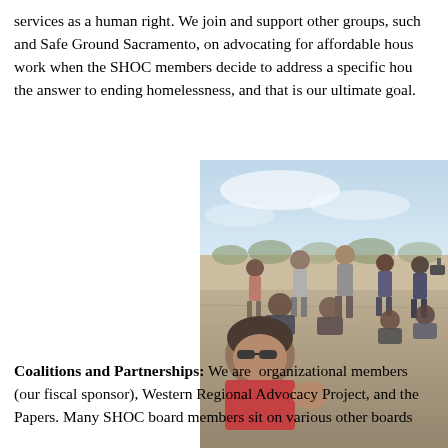services as a human right. We join and support other groups, such as and Safe Ground Sacramento, on advocating for affordable housing. We work when the SHOC members decide to address a specific housing issue. the answer to ending homelessness, and that is our ultimate goal.
[Figure (photo): Outdoor group photo of multiple people gathered in a circle or gathering at an outdoor location. People are standing and sitting, with dry landscape in background. Appears to be a community meeting or event.]
Coalitions and Partnerships: We are organizational members (our fiscal sponsor), Western Regional Advocacy Project, and the Papers. Many SHOC board members sit on various other boards